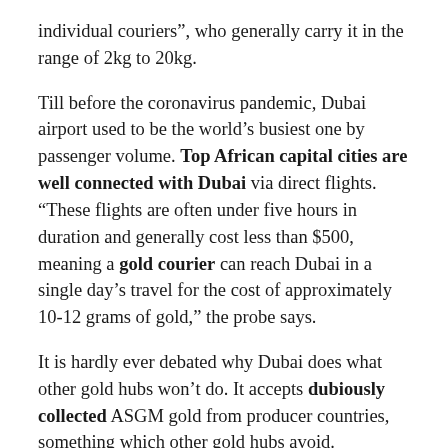individual couriers”, who generally carry it in the range of 2kg to 20kg.
Till before the coronavirus pandemic, Dubai airport used to be the world’s busiest one by passenger volume. Top African capital cities are well connected with Dubai via direct flights. “These flights are often under five hours in duration and generally cost less than $500, meaning a gold courier can reach Dubai in a single day’s travel for the cost of approximately 10-12 grams of gold,” the probe says.
It is hardly ever debated why Dubai does what other gold hubs won’t do. It accepts dubiously collected ASGM gold from producer countries, something which other gold hubs avoid.
The investigation says, “An analysis of the UAE’s imports